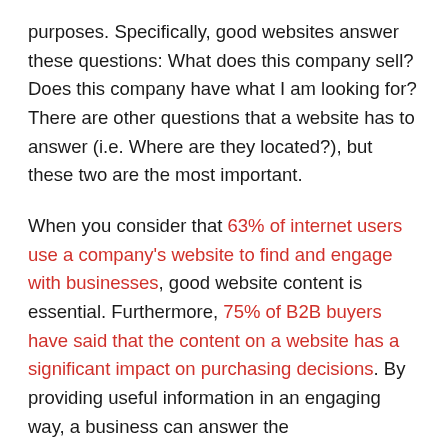purposes. Specifically, good websites answer these questions: What does this company sell? Does this company have what I am looking for? There are other questions that a website has to answer (i.e. Where are they located?), but these two are the most important.
When you consider that 63% of internet users use a company's website to find and engage with businesses, good website content is essential. Furthermore, 75% of B2B buyers have said that the content on a website has a significant impact on purchasing decisions. By providing useful information in an engaging way, a business can answer the